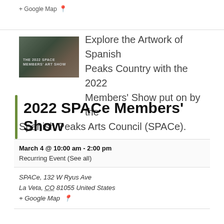+ Google Map
Explore the Artwork of Spanish Peaks Country with the 2022 Members' Show put on by the Spanish Peaks Arts Council (SPACe).
Find out more »
2022 SPACe Members' Show
March 4 @ 10:00 am - 2:00 pm
Recurring Event (See all)
SPACe, 132 W Ryus Ave
La Veta, CO 81055 United States
+ Google Map